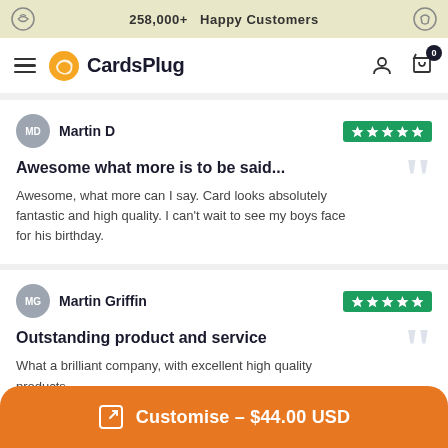258,000+ Happy Customers
[Figure (logo): CardsPlug logo with orange wave icon and bold dark text]
Martin D — 5 stars
Awesome what more is to be said...
Awesome, what more can I say. Card looks absolutely fantastic and high quality. I can't wait to see my boys face for his birthday.
Martin Griffin — 5 stars
Outstanding product and service
What a brilliant company, with excellent high quality products.
I bought the "one to watch" card for my sons 16th
Customise – $44.00 USD